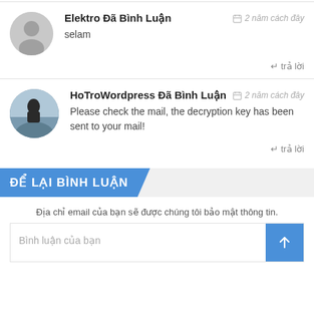Elektro Đã Bình Luận — 2 năm cách đây
selam
↵ trả lời
HoTroWordpress Đã Bình Luận — 2 năm cách đây
Please check the mail, the decryption key has been sent to your mail!
↵ trả lời
ĐỂ LẠI BÌNH LUẬN
Địa chỉ email của bạn sẽ được chúng tôi bảo mật thông tin.
Bình luận của bạn